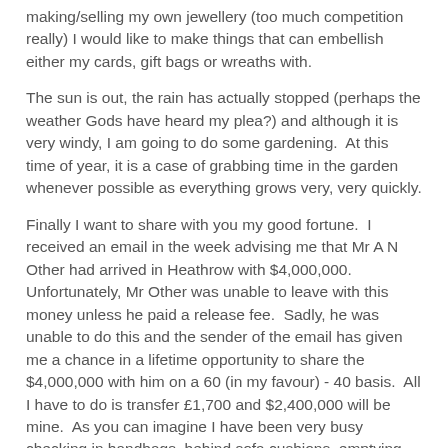making/selling my own jewellery (too much competition really) I would like to make things that can embellish either my cards, gift bags or wreaths with.
The sun is out, the rain has actually stopped (perhaps the weather Gods have heard my plea?) and although it is very windy, I am going to do some gardening.  At this time of year, it is a case of grabbing time in the garden whenever possible as everything grows very, very quickly.
Finally I want to share with you my good fortune.  I received an email in the week advising me that Mr A N Other had arrived in Heathrow with $4,000,000.  Unfortunately, Mr Other was unable to leave with this money unless he paid a release fee.  Sadly, he was unable to do this and the sender of the email has given me a chance in a lifetime opportunity to share the $4,000,000 with him on a 60 (in my favour) - 40 basis.  All I have to do is transfer £1,700 and $2,400,000 will be mine.  As you can imagine I have been very busy checking in handbags, behind sofa cushions, emptying jars, raiding the cats' piggy banks' in an effort to raise the £1,700!!